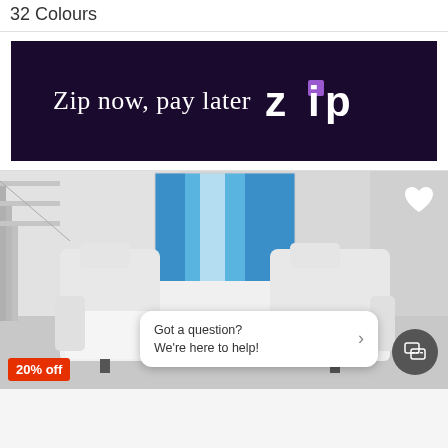32 Colours
[Figure (photo): Dark purple/navy banner advertisement with white border reading 'Zip now, pay later' with the Zip logo (white and purple Z, i, p letters with purple square replacing the i dot)]
[Figure (photo): White leather sectional sofa in a modern room with light grey floor, white walls, blue abstract wall art panel, and stairs visible on the left. Overlay elements include a heart icon (top right), a chat bubble saying 'Got a question? We're here to help!' with chat button, and a '20% off' red badge (bottom left).]